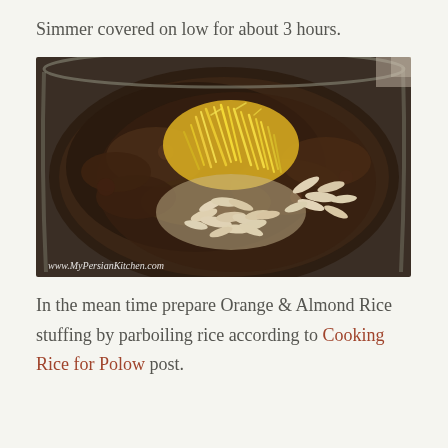Simmer covered on low for about 3 hours.
[Figure (photo): A pan with dark caramelized onion mixture topped with yellow saffron-tinted shredded orange peel and sliced almonds. Watermark reads www.MyPersianKitchen.com]
In the mean time prepare Orange & Almond Rice stuffing by parboiling rice according to Cooking Rice for Polow post.